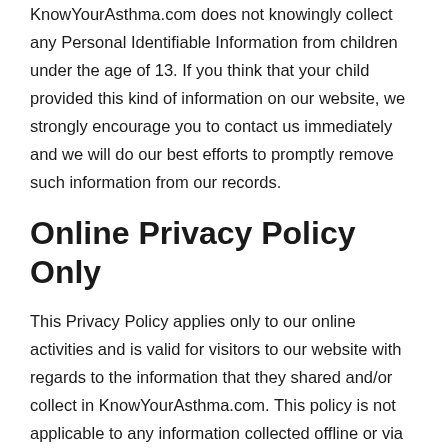KnowYourAsthma.com does not knowingly collect any Personal Identifiable Information from children under the age of 13. If you think that your child provided this kind of information on our website, we strongly encourage you to contact us immediately and we will do our best efforts to promptly remove such information from our records.
Online Privacy Policy Only
This Privacy Policy applies only to our online activities and is valid for visitors to our website with regards to the information that they shared and/or collect in KnowYourAsthma.com. This policy is not applicable to any information collected offline or via channels other than this website.
Consent